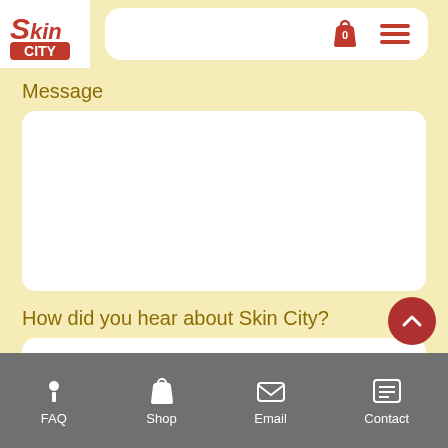[Figure (logo): Skin City logo in red with stylized text]
Message
[Figure (screenshot): Empty white text area input box for Message]
How did you hear about Skin City?
[Figure (screenshot): White dropdown select box with chevron down arrow]
What's important to you about Vegas?
FAQ  Shop  Email  Contact